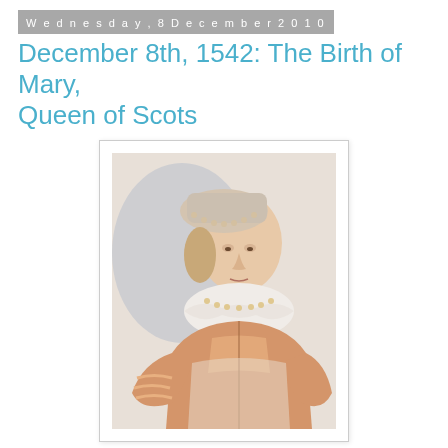Wednesday, 8 December 2010
December 8th, 1542: The Birth of Mary, Queen of Scots
[Figure (illustration): A historical chalk or watercolor portrait of Mary Queen of Scots as a young woman, shown from the waist up, wearing a pearl-decorated headdress, ruff collar, pearl necklace, and an ornate Renaissance dress with gold/amber embroidery.]
A thick snow and a treacherous layer of ice enveloped the